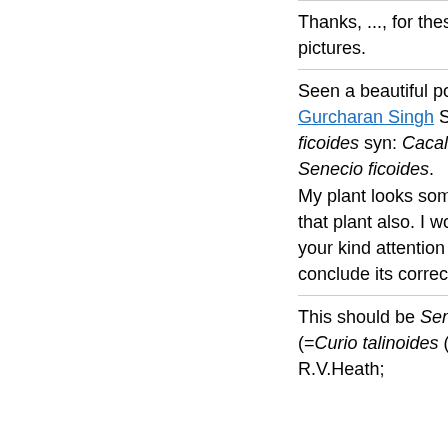Thanks, ..., for these marvellous pictures.
Seen a beautiful post by post by Dr. Gurcharan Singh Sir on Kleinia ficoides syn: Cacalia ficoides; Senecio ficoides. My plant looks somewhat similar to that plant also. I would like to seek your kind attention on my plant to conclude its correct identity.
This should be Senecio talinoides S (=Curio talinoides (DC. R.V.Heath;